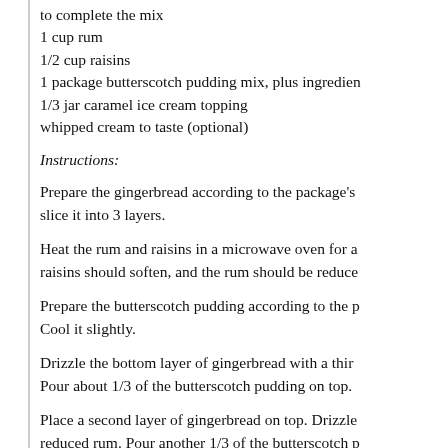to complete the mix
1 cup rum
1/2 cup raisins
1 package butterscotch pudding mix, plus ingredients to complete the mix
1/3 jar caramel ice cream topping
whipped cream to taste (optional)
Instructions:
Prepare the gingerbread according to the package's directions and slice it into 3 layers.
Heat the rum and raisins in a microwave oven for a few minutes. The raisins should soften, and the rum should be reduced.
Prepare the butterscotch pudding according to the package directions. Cool it slightly.
Drizzle the bottom layer of gingerbread with a third of reduced rum. Pour about 1/3 of the butterscotch pudding on top.
Place a second layer of gingerbread on top. Drizzle with the reduced rum. Pour another 1/3 of the butterscotch pudding on top. Add the drunken raisins and remaining reduced rum.
Place the third layer of gingerbread on top. Drizzle the gingerbread layer with remaining pudding. Add car...